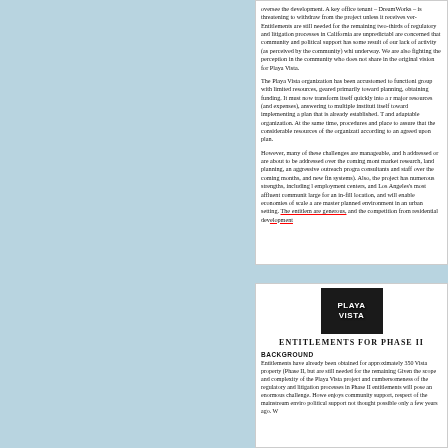oversee the development. A key office tenant — DreamWorks — is threatening to withdraw from the project unless it receives very [...] Entitlements are still needed for the remaining two-thirds of [...] regulatory and litigation processes in California are unpredictable [...] are concerned that community and political support has somewhat [...] result of our lack of activity (as perceived by the community) while [...] underway. We are also fighting the perception in the community [...] who does not share in the original vision for Playa Vista.
The Playa Vista organization has been accustomed to functioning as a group with limited resources, geared primarily toward planning, and obtaining funding. It must now transform itself quickly into a real [...] major resources (and expenses), answering to multiple institutions, [...] itself toward implementing a plan that is already established. This [...] and adaptable organization. At the same time, procedures and [...] place to assure that the considerable resources of the organization [...] according to an agreed upon plan.
However, many of these challenges are manageable, and have been addressed or are about to be addressed over the coming months (e.g., market research, land planning, an aggressive outreach program, new consultants and staff over the coming months, and new financial systems). Also, the project has numerous strengths, including large employment centers, and Los Angeles's most affluent communities, is large for an in-fill location, and will enable economies of scale as are master planned environment in an urban setting. The entitlements are generous, and the competition from residential development [...]
[Figure (logo): Playa Vista logo — white text on dark background reading PLAYA VISTA]
ENTITLEMENTS FOR PHASE II
BACKGROUND
Entitlements have already been obtained for approximately 350 [...] Vista property (Phase II, but are still needed for the remaining [...] Given the scope and complexity of the Playa Vista project and [...] cumbersomeness of the regulatory and litigation processes in [...] Phase II entitlements will pose an enormous challenge. However [...] enjoys community support, respect of the mainstream environ[...] political support not thought possible only a few years ago. We [...]